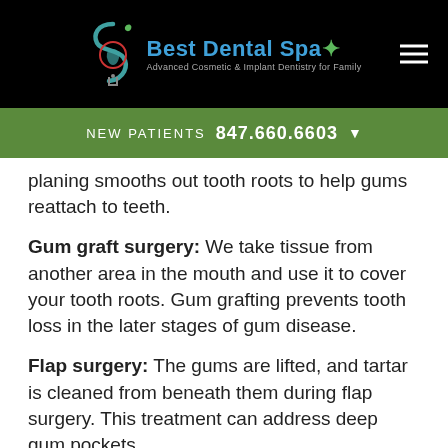[Figure (logo): Best Dental Spa logo with tagline 'Advanced Cosmetic & Implant Dentistry for Family' on black header bar]
NEW PATIENTS  847.660.6603
planing smooths out tooth roots to help gums reattach to teeth.
Gum graft surgery: We take tissue from another area in the mouth and use it to cover your tooth roots. Gum grafting prevents tooth loss in the later stages of gum disease.
Flap surgery: The gums are lifted, and tartar is cleaned from beneath them during flap surgery. This treatment can address deep gum pockets.
REAL PATIENTS, REAL RESULTS